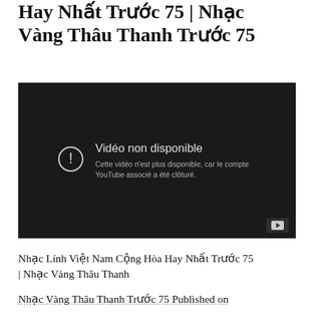Hay Nhất Trước 75 | Nhạc Vàng Thâu Thanh Trước 75
[Figure (screenshot): YouTube embedded video player showing an unavailable video error message in French: 'Vidéo non disponible. Cette vidéo n'est plus disponible, car le compte YouTube associé a été clôturé.' with a YouTube logo button in the bottom right corner.]
Nhạc Lính Việt Nam Cộng Hòa Hay Nhất Trước 75 | Nhạc Vàng Thâu Thanh
Nhạc Vàng Thâu Thanh Trước 75 Published on